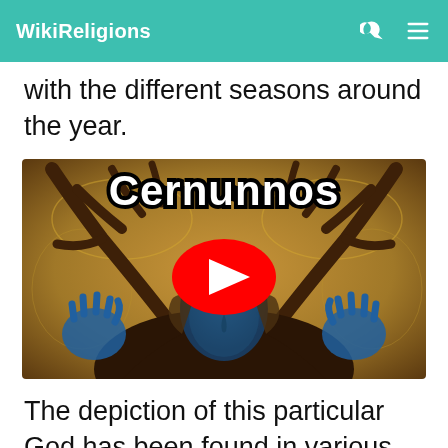WikiReligions
with the different seasons around the year.
[Figure (screenshot): YouTube video thumbnail showing Cernunnos — a horned deity figure with antlers, blue face and hands, painted in golden and dark tones. A white bold text 'Cernunnos' appears at the top with a YouTube play button overlay in the center.]
The depiction of this particular God has been found in various types of literary